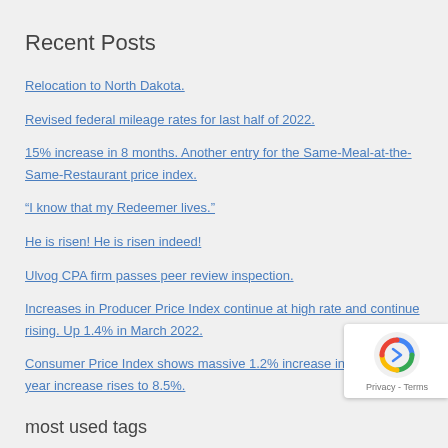Recent Posts
Relocation to North Dakota.
Revised federal mileage rates for last half of 2022.
15% increase in 8 months. Another entry for the Same-Meal-at-the-Same-Restaurant price index.
“I know that my Redeemer lives.”
He is risen! He is risen indeed!
Ulvog CPA firm passes peer review inspection.
Increases in Producer Price Index continue at high rate and continue rising. Up 1.4% in March 2022.
Consumer Price Index shows massive 1.2% increase in March. One year increase rises to 8.5%.
most used tags